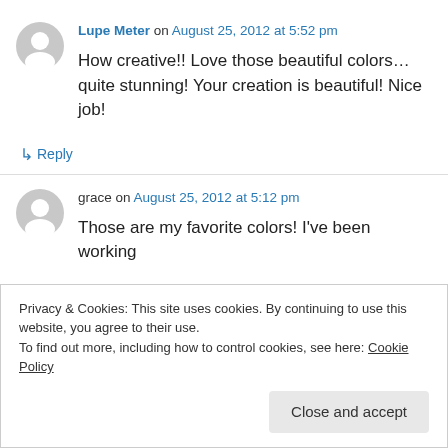Lupe Meter on August 25, 2012 at 5:52 pm
How creative!! Love those beautiful colors…quite stunning! Your creation is beautiful! Nice job!
↳ Reply
grace on August 25, 2012 at 5:12 pm
Those are my favorite colors! I've been working
Privacy & Cookies: This site uses cookies. By continuing to use this website, you agree to their use.
To find out more, including how to control cookies, see here: Cookie Policy
Close and accept